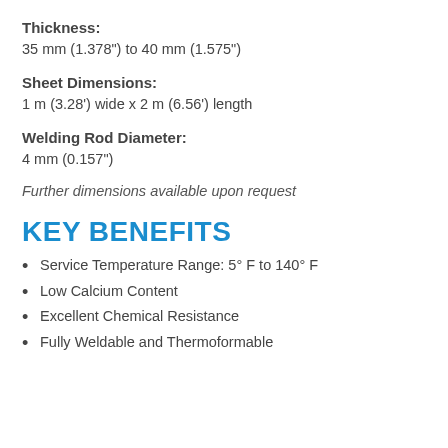Thickness: 35 mm (1.378") to 40 mm (1.575")
Sheet Dimensions: 1 m (3.28') wide x 2 m (6.56') length
Welding Rod Diameter: 4 mm (0.157")
Further dimensions available upon request
KEY BENEFITS
Service Temperature Range: 5° F to 140° F
Low Calcium Content
Excellent Chemical Resistance
Fully Weldable and Thermoformable